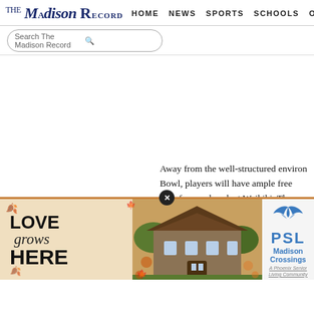THE Madison Record | HOME | NEWS | SPORTS | SCHOOLS | OPINION
Search The Madison Record
Away from the well-structured environ Bowl, players will have ample free time famous beach at Waikiki. The event als numerous Hawaii landmarks including
[Figure (photo): Advertisement banner for Madison Crossings, A Phoenix Senior Living Community. Left side shows 'LOVE grows HERE' text with autumn leaf decorations. Center shows photo of a residential building. Right side shows PSL (Phoenix Senior Living) logo with text 'Madison Crossings, A Phoenix Senior Living Community'.]